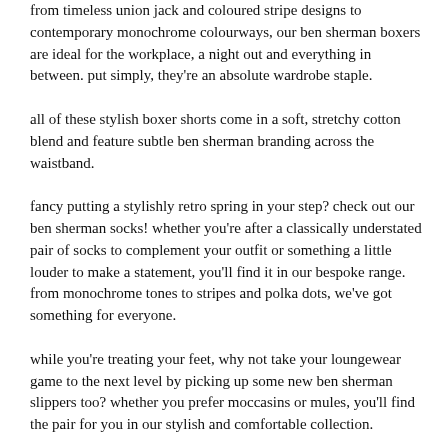from timeless union jack and coloured stripe designs to contemporary monochrome colourways, our ben sherman boxers are ideal for the workplace, a night out and everything in between. put simply, they're an absolute wardrobe staple.
all of these stylish boxer shorts come in a soft, stretchy cotton blend and feature subtle ben sherman branding across the waistband.
fancy putting a stylishly retro spring in your step? check out our ben sherman socks! whether you're after a classically understated pair of socks to complement your outfit or something a little louder to make a statement, you'll find it in our bespoke range. from monochrome tones to stripes and polka dots, we've got something for everyone.
while you're treating your feet, why not take your loungewear game to the next level by picking up some new ben sherman slippers too? whether you prefer moccasins or mules, you'll find the pair for you in our stylish and comfortable collection.